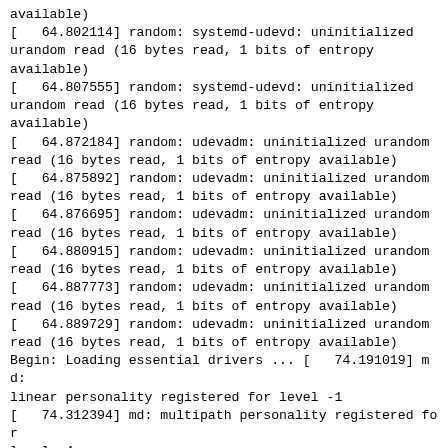available)
[   64.802114] random: systemd-udevd: uninitialized urandom read (16 bytes read, 1 bits of entropy available)
[   64.807555] random: systemd-udevd: uninitialized urandom read (16 bytes read, 1 bits of entropy available)
[   64.872184] random: udevadm: uninitialized urandom read (16 bytes read, 1 bits of entropy available)
[   64.875892] random: udevadm: uninitialized urandom read (16 bytes read, 1 bits of entropy available)
[   64.876695] random: udevadm: uninitialized urandom read (16 bytes read, 1 bits of entropy available)
[   64.880915] random: udevadm: uninitialized urandom read (16 bytes read, 1 bits of entropy available)
[   64.887773] random: udevadm: uninitialized urandom read (16 bytes read, 1 bits of entropy available)
[   64.889729] random: udevadm: uninitialized urandom read (16 bytes read, 1 bits of entropy available)
Begin: Loading essential drivers ... [   74.191019] md: linear personality registered for level -1
[   74.312394] md: multipath personality registered for level -4
[   74.428584] md: raid0 personality registered for level 0
[   74.541749] md: raid1 personality registered for level 1
[   74.742971] raid6: int64x1   gen()    244 MB/s
[   74.810777] raid6: int64x1   xor()    296 MB/s
[   74.878777] raid6: int64x2   gen()    796 MB/s
[   74.946753] raid6: int64x2   xor()    519 MB/s